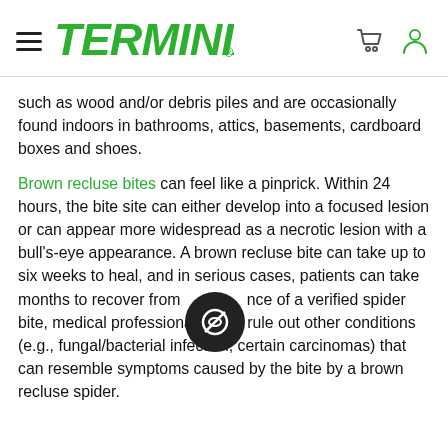TERMINIX
such as wood and/or debris piles and are occasionally found indoors in bathrooms, attics, basements, cardboard boxes and shoes.
Brown recluse bites can feel like a pinprick. Within 24 hours, the bite site can either develop into a focused lesion or can appear more widespread as a necrotic lesion with a bull's-eye appearance. A brown recluse bite can take up to six weeks to heal, and in serious cases, patients can take months to recover from necrotic ulcers, fever and general malaise. In the absence of a verified spider bite, medical professionals must rule out other conditions (e.g., fungal/bacterial infection, certain carcinomas) that can resemble symptoms caused by the bite by a brown recluse spider.